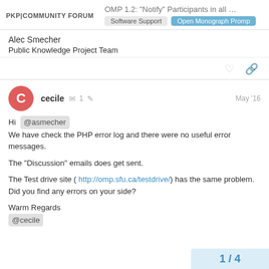PKP|COMMUNITY FORUM — OMP 1.2: "Notify" Participants in all … | Software Support | Open Monograph Press
Alec Smecher
Public Knowledge Project Team
cecile — 1 — May '16
Hi @asmecher
We have check the PHP error log and there were no useful error messages.

The “Discussion” emails does get sent.

The Test drive site ( http://omp.sfu.ca/testdrive/ ) has the same problem. Did you find any errors on your side?

Warm Regards
@cecile
1 / 4